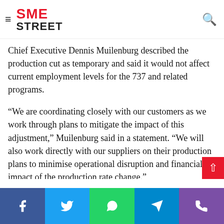SME STREET
Chief Executive Dennis Muilenburg described the production cut as temporary and said it would not affect current employment levels for the 737 and related programs.
“We are coordinating closely with our customers as we work through plans to mitigate the impact of this adjustment,” Muilenburg said in a statement. “We will also work directly with our suppliers on their production plans to minimise operational disruption and financial impact of the production rate change.”
Boeing has continued to manufacture 737s since the